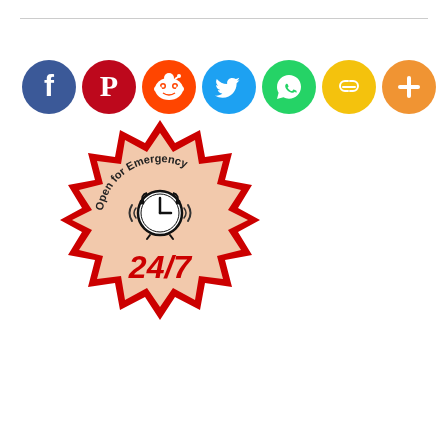[Figure (illustration): Row of 7 social media share buttons as colored circles: Facebook (blue), Pinterest (red), Reddit (orange-red), Twitter (light blue), WhatsApp (green), Copy/Link (yellow), More/Plus (orange)]
[Figure (illustration): Badge/stamp graphic shaped like a starburst with red border and tan/beige fill. Text arched at top reads 'Open for Emergency' with an alarm clock icon in center and bold red text '24/7' at bottom.]